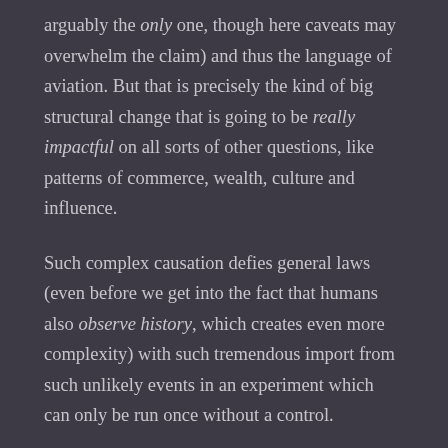arguably the only one, though here caveats may overwhelm the claim) and thus the language of aviation. But that is precisely the kind of big structural change that is going to be really impactful on all sorts of other questions, like patterns of commerce, wealth, culture and influence.
Such complex causation defies general laws (even before we get into the fact that humans also observe history, which creates even more complexity) with such tremendous import from such unlikely events in an experiment which can only be run once without a control.
The other problem is evidence. Attempting to actually diagnose and model societies like this demands a lot of